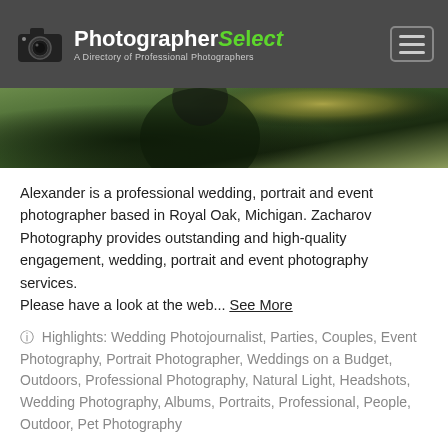PhotographerSelect — A Directory of Professional Photographers
[Figure (photo): Blurred outdoor photo showing a dark figure in a green background, partially visible at the top of the page]
Alexander is a professional wedding, portrait and event photographer based in Royal Oak, Michigan. Zacharov Photography provides outstanding and high-quality engagement, wedding, portrait and event photography services.
Please have a look at the web... See More
⓪ Highlights: Wedding Photojournalist, Parties, Couples, Event Photography, Portrait Photographer, Weddings on a Budget, Outdoors, Professional Photography, Natural Light, Headshots, Wedding Photography, Albums, Portraits, Professional, People, Outdoor, Pet Photography